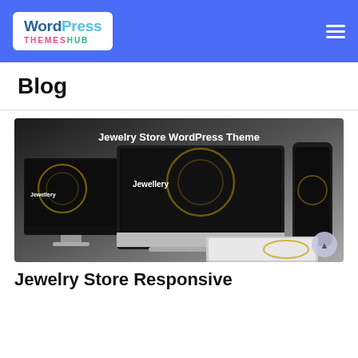WordPress THEMESHUB
Blog
[Figure (screenshot): Jewelry Store WordPress Theme promotional banner showing the theme displayed on desktop monitor, laptop, phone and tablet mockups with 'Jewellery' branding on dark background]
Jewelry Store Responsive